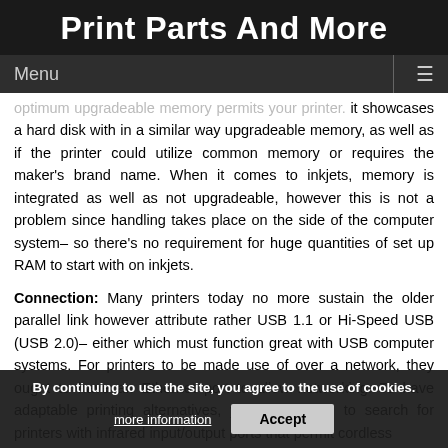Print Parts And More
Menu
optimum upgrade able memory permits your printer. It showcases a hard disk with in a similar way upgradeable memory, as well as if the printer could utilize common memory or requires the maker's brand name. When it comes to inkjets, memory is integrated as well as not upgradeable, however this is not a problem since handling takes place on the side of the computer system– so there's no requirement for huge quantities of set up RAM to start with on inkjets.
Connection: Many printers today no more sustain the older parallel link however attribute rather USB 1.1 or Hi-Speed USB (USB 2.0)– either which must function great with USB computer systems. For printers to be made use of over a network, they ought to have an Ethernet port to allow networking. To have adaptable printing alternatives, you could wish to search for printers with infrared input/output ports that permit cordless
By continuing to use the site, you agree to the use of cookies.
more information
Accept